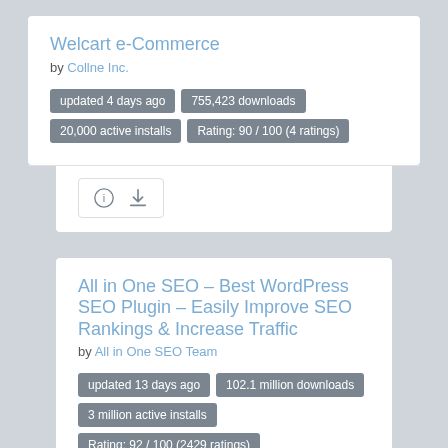Welcart e-Commerce
by Collne Inc.
updated 4 days ago
755,423 downloads
20,000 active installs
Rating: 90 / 100 (4 ratings)
[Figure (infographic): Info and download icon buttons in a white box]
All in One SEO – Best WordPress SEO Plugin – Easily Improve SEO Rankings &amp; Increase Traffic
by All in One SEO Team
updated 13 days ago
102.1 million downloads
3 million active installs
Rating: 92 / 100 (2429 ratings)